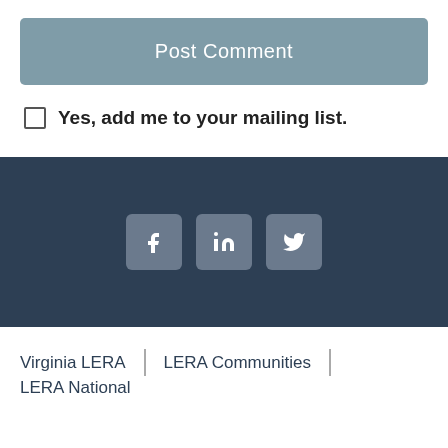Post Comment
Yes, add me to your mailing list.
[Figure (other): Dark navy footer banner with three social media icons: Facebook (f), LinkedIn (in), and Twitter (bird icon), each in a rounded grey square button]
Virginia LERA | LERA Communities | LERA National